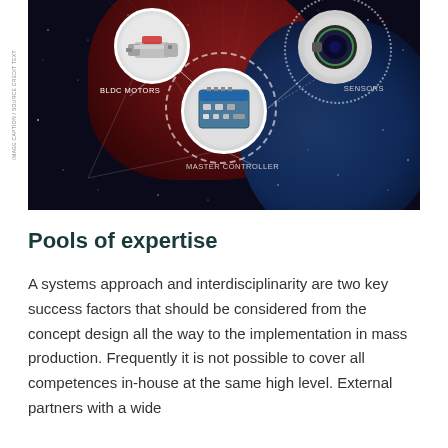[Figure (infographic): Dark background infographic showing a drone/robotics system diagram with three circular component icons labeled BLDC MOTORS (top-left), MASTER CONTROLLER (center), and SENSORS (top-right), connected by lines on a dark navy/crimson background with star-like patterns.]
Pools of expertise
A systems approach and interdisciplinarity are two key success factors that should be considered from the concept design all the way to the implementation in mass production. Frequently it is not possible to cover all competences in-house at the same high level. External partners with a wide